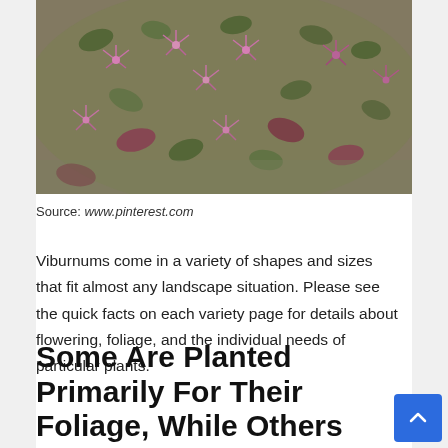[Figure (photo): Close-up photograph of a viburnum shrub with pink/purple fringed flowers and green-reddish leaves against a blurred background]
Source: www.pinterest.com
Viburnums come in a variety of shapes and sizes that fit almost any landscape situation. Please see the quick facts on each variety page for details about flowering, foliage, and the individual needs of particular plants.
Some Are Planted Primarily For Their Foliage, While Others May Provide Color And